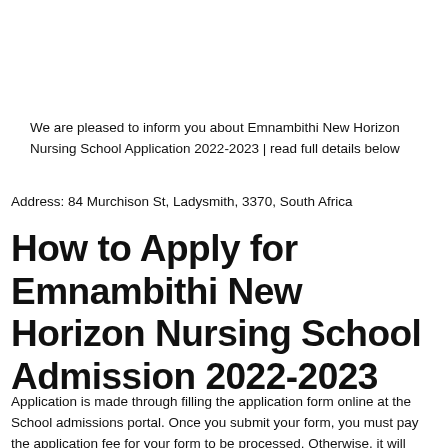We are pleased to inform you about Emnambithi New Horizon Nursing School Application 2022-2023 | read full details below
Address: 84 Murchison St, Ladysmith, 3370, South Africa
How to Apply for Emnambithi New Horizon Nursing School Admission 2022-2023
Application is made through filling the application form online at the School admissions portal. Once you submit your form, you must pay the application fee for your form to be processed. Otherwise, it will